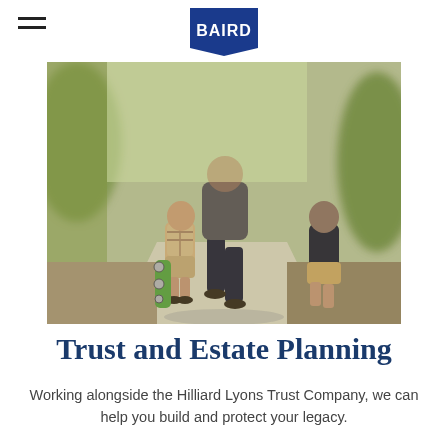BAIRD
[Figure (photo): A father walking with two children from behind on a sunny sidewalk; one child carries a green skateboard.]
Trust and Estate Planning
Working alongside the Hilliard Lyons Trust Company, we can help you build and protect your legacy.